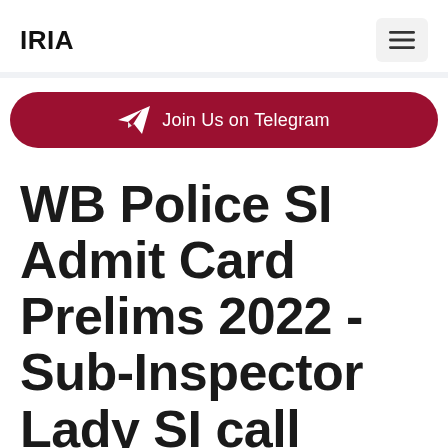IRIA
Join Us on Telegram
WB Police SI Admit Card Prelims 2022 - Sub-Inspector Lady SI call letter